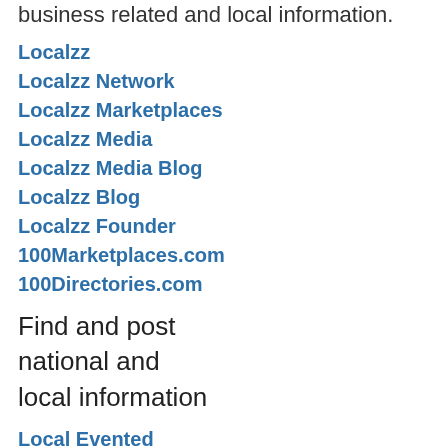business related and local information.
Localzz
Localzz Network
Localzz Marketplaces
Localzz Media
Localzz Media Blog
Localzz Blog
Localzz Founder
100Marketplaces.com
100Directories.com
Find and post national and local information
Local Evented
Local Employed